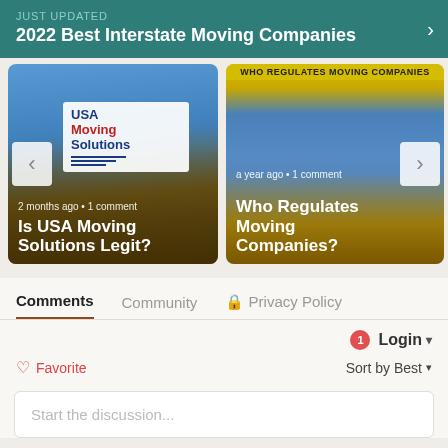JUST UPDATED
2022 Best Interstate Moving Companies
[Figure (screenshot): Article card: Is USA Moving Solutions Legit? - 2 months ago · 1 comment]
[Figure (screenshot): Article card: Who Regulates Moving Companies? - a year ago · 1 comment]
Comments	Community	🔒 Privacy Policy
1 Login ▾
♡ Favorite	Sort by Best ▾
Start the discussion...